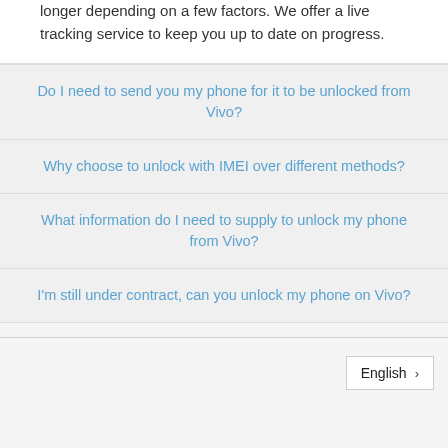longer depending on a few factors. We offer a live tracking service to keep you up to date on progress.
Do I need to send you my phone for it to be unlocked from Vivo?
Why choose to unlock with IMEI over different methods?
What information do I need to supply to unlock my phone from Vivo?
I'm still under contract, can you unlock my phone on Vivo?
English